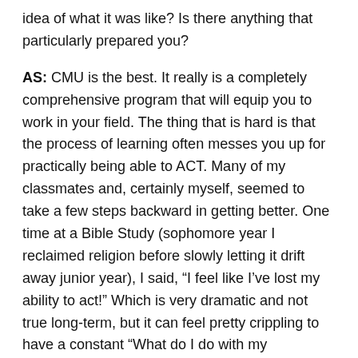idea of what it was like? Is there anything that particularly prepared you?
AS: CMU is the best. It really is a completely comprehensive program that will equip you to work in your field. The thing that is hard is that the process of learning often messes you up for practically being able to ACT. Many of my classmates and, certainly myself, seemed to take a few steps backward in getting better. One time at a Bible Study (sophomore year I reclaimed religion before slowly letting it drift away junior year), I said, “I feel like I’ve lost my ability to act!” Which is very dramatic and not true long-term, but it can feel pretty crippling to have a constant “What do I do with my hands?!?!?” thought running through your head.
Carnegie prepares its students to act, collaborate, and